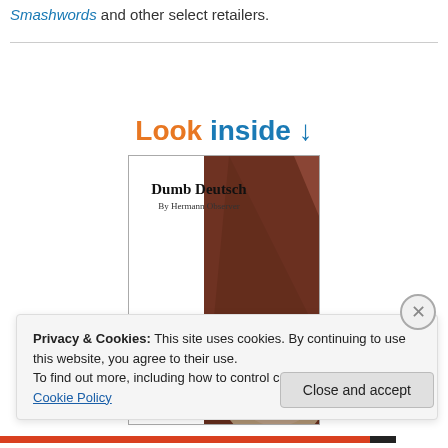Smashwords and other select retailers.
[Figure (illustration): Book cover thumbnail for 'Dumb Deutsch by Hermann Observer' showing a garden gnome with a brown pointed hat and a monkey-like face, displayed under a 'Look inside' prompt on an e-commerce website.]
Privacy & Cookies: This site uses cookies. By continuing to use this website, you agree to their use.
To find out more, including how to control cookies, see here: Cookie Policy